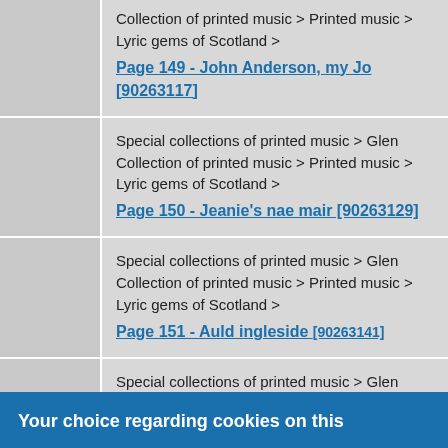|  |  |
| --- | --- |
|  | Special collections of printed music > Glen Collection of printed music > Printed music > Lyric gems of Scotland > Page 149 - John Anderson, my Jo [90263117] |
|  | Special collections of printed music > Glen Collection of printed music > Printed music > Lyric gems of Scotland > Page 150 - Jeanie's nae mair [90263129] |
|  | Special collections of printed music > Glen Collection of printed music > Printed music > Lyric gems of Scotland > Page 151 - Auld ingleside [90263141] |
|  | Special collections of printed music > Glen Collection of printed music > Printed music > Lyric gems of Scotland > Page 152 - Phoebus, wi' gowden crest |
Your choice regarding cookies on this